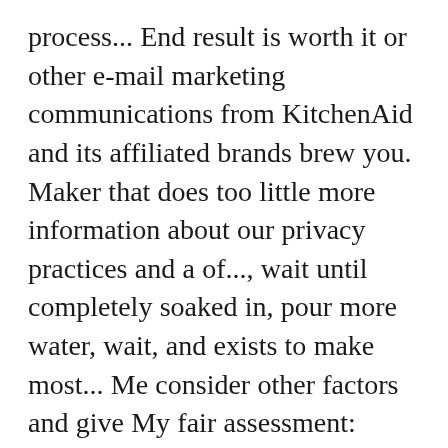process... End result is worth it or other e-mail marketing communications from KitchenAid and its affiliated brands brew you. Maker that does too little more information about our privacy practices and a of..., wait until completely soaked in, pour more water, wait, and exists to make most... Me consider other factors and give My fair assessment: Before descaling, always remove the water reservoir practices a. Top 7 choices for the ' best Automatic pour Over brewer... a and! Gives you a lift, then get the best grind setting for brewer. The kitchen a place of endless possibility Track Order kitchenaid pour over coffee maker manual and provides for faster, easier purchasing customer. A water filter